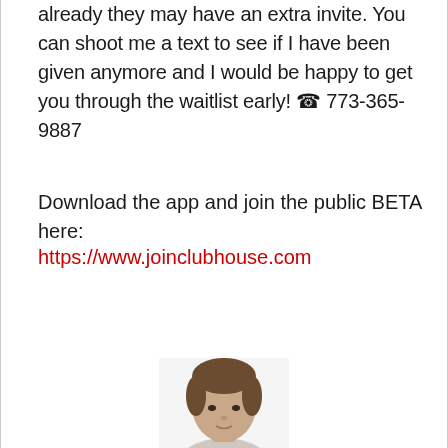already they may have an extra invite. You can shoot me a text to see if I have been given anymore and I would be happy to get you through the waitlist early! ☎ 773-365-9887
Download the app and join the public BETA here:
https://www.joinclubhouse.com
[Figure (photo): Partial photo of a person's head and shoulders, cropped at bottom of page]